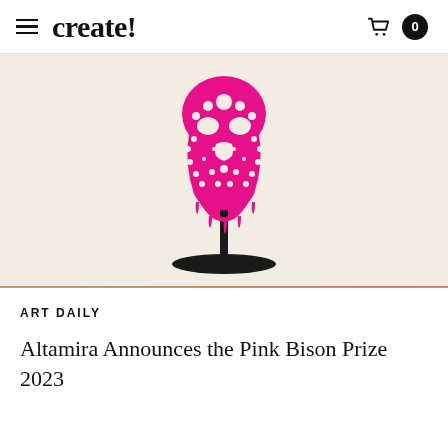create!
[Figure (photo): A hot pink decorative skull sculpture mounted on a black metal stand with a round base, featuring intricate laser-cut floral and ornamental patterns throughout. The skull appears to be a bison or bovine skull, photographed against a light beige/cream background.]
ART DAILY
Altamira Announces the Pink Bison Prize 2023